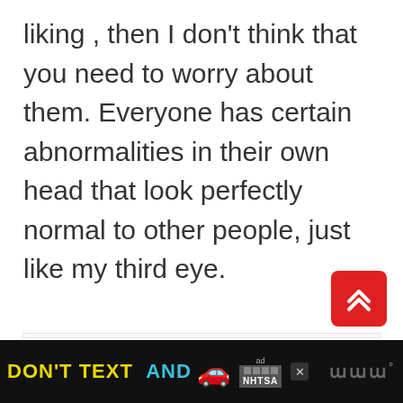liking , then I don't think that you need to worry about them. Everyone has certain abnormalities in their own head that look perfectly normal to other people, just like my third eye.
[Figure (screenshot): A red scroll-to-top button with double up-chevron arrow, positioned in the lower right of the content area]
[Figure (screenshot): Black advertisement banner at the bottom: 'DON'T TEXT AND' in yellow and cyan text with a red car emoji and NHTSA ad logo]